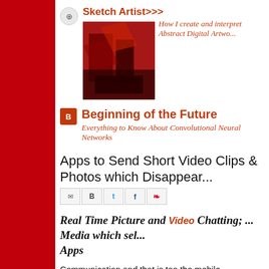Sketch Artist>>>
[Figure (photo): Abstract digital artwork with red and dark tones]
How I create and interpret Abstract Digital Artwo...
Beginning of the Future
Everything to Know About Convolutional Neural Networks
Apps to Send Short Video Clips & Photos which Disappear...
[Figure (other): Social share buttons: Gmail, Blogger, Twitter, Facebook, Pinterest]
Real Time Picture and Video Chatting; ... Media which sel... Apps
Communication and that is too the mobile communication... current generation, we love to chat, we love videos, so here...
You can send text, photos or short clips of videos, define ti... and get disappear or self destroyed in the time pre-define...